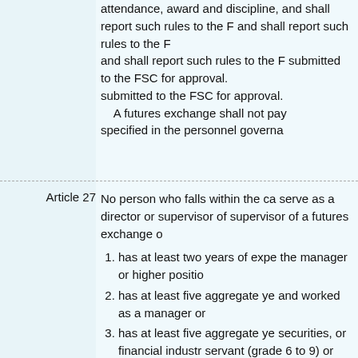attendance, award and discipline, and shall report such rules to the FSC submitted to the FSC for approval. A futures exchange shall not pay specified in the personnel governa
Article 27
No person who falls within the ca serve as a director or supervisor of supervisor of a futures exchange o
1. has at least two years of expe the manager or higher positio
2. has at least five aggregate ye and worked as a manager or
3. has at least five aggregate ye securities, or financial industr servant (grade 6 to 9) or high
4. graduated from domestic or fo fact evidencing his futures rel business with efficiency.
If the director or supervisor is a j mutandis to its (statutory) represen For directors or/and supervisors